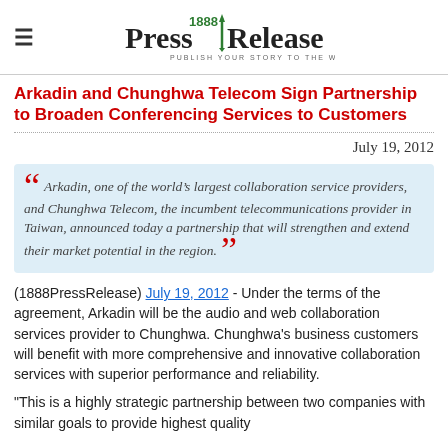1888 PressRelease — PUBLISH YOUR STORY TO THE WORLD
Arkadin and Chunghwa Telecom Sign Partnership to Broaden Conferencing Services to Customers
July 19, 2012
Arkadin, one of the world's largest collaboration service providers, and Chunghwa Telecom, the incumbent telecommunications provider in Taiwan, announced today a partnership that will strengthen and extend their market potential in the region.
(1888PressRelease) July 19, 2012 - Under the terms of the agreement, Arkadin will be the audio and web collaboration services provider to Chunghwa. Chunghwa's business customers will benefit with more comprehensive and innovative collaboration services with superior performance and reliability.
"This is a highly strategic partnership between two companies with similar goals to provide highest quality